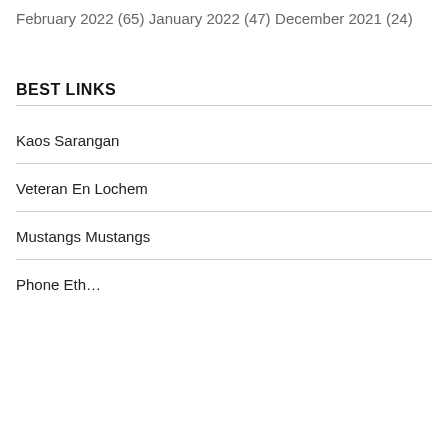February 2022 (65)
January 2022 (47)
December 2021 (24)
BEST LINKS
Kaos Sarangan
Veteran En Lochem
Mustangs Mustangs
Phone Eth…